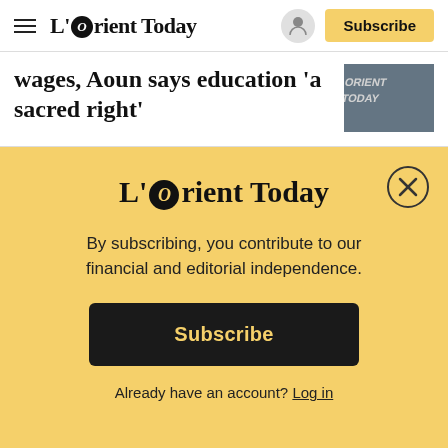L'Orient Today — Subscribe
wages, Aoun says education 'a sacred right'
[Figure (photo): Thumbnail image of a news article, partially visible, showing text and figures in a news context.]
[Figure (logo): L'Orient Today logo displayed in the subscription paywall overlay on a yellow background.]
By subscribing, you contribute to our financial and editorial independence.
Subscribe
Already have an account? Log in